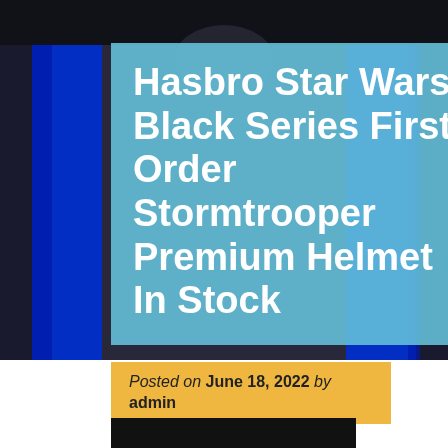[Figure (photo): Dark background hero image with blue neon glow on sides, showing a blurred stormtrooper helmet.]
Hasbro Star Wars Black Series First Order Stormtrooper Premium Helmet In Stock
Posted on June 18, 2022 by admin
[Figure (photo): Partial dark image of stormtrooper helmet visible at bottom of page.]